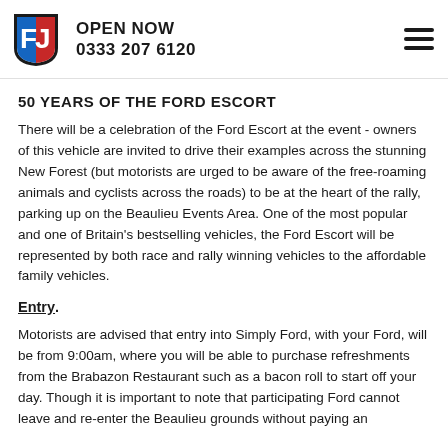OPEN NOW 0333 207 6120
50 YEARS OF THE FORD ESCORT
There will be a celebration of the Ford Escort at the event - owners of this vehicle are invited to drive their examples across the stunning New Forest (but motorists are urged to be aware of the free-roaming animals and cyclists across the roads) to be at the heart of the rally, parking up on the Beaulieu Events Area. One of the most popular and one of Britain's bestselling vehicles, the Ford Escort will be represented by both race and rally winning vehicles to the affordable family vehicles.
Entry
Motorists are advised that entry into Simply Ford, with your Ford, will be from 9:00am, where you will be able to purchase refreshments from the Brabazon Restaurant such as a bacon roll to start off your day. Though it is important to note that participating Ford cannot leave and re-enter the Beaulieu grounds without paying an